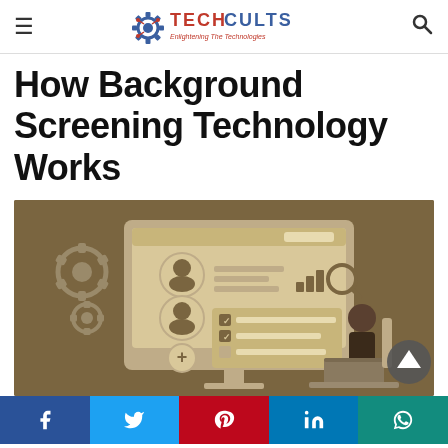Tech Cults — Enlightening The Technologies
How Background Screening Technology Works
[Figure (illustration): Flat illustration showing a background screening dashboard with a person sitting at a laptop, gears, and a profile/checklist UI on a monitor. Brown/tan color scheme.]
Social share bar: Facebook, Twitter, Pinterest, LinkedIn, WhatsApp